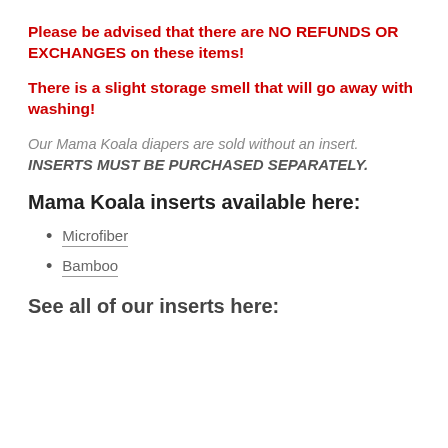Please be advised that there are NO REFUNDS OR EXCHANGES on these items!
There is a slight storage smell that will go away with washing!
Our Mama Koala diapers are sold without an insert. INSERTS MUST BE PURCHASED SEPARATELY.
Mama Koala inserts available here:
Microfiber
Bamboo
See all of our inserts here: